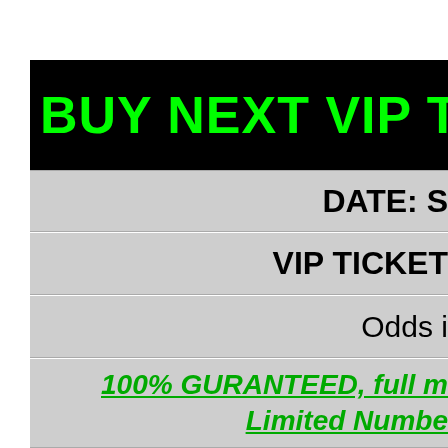BUY NEXT VIP TICKET
DATE: S
VIP TICKET
Odds i
100% GURANTEED, full m
Limited Numbe
Cost details you can fin